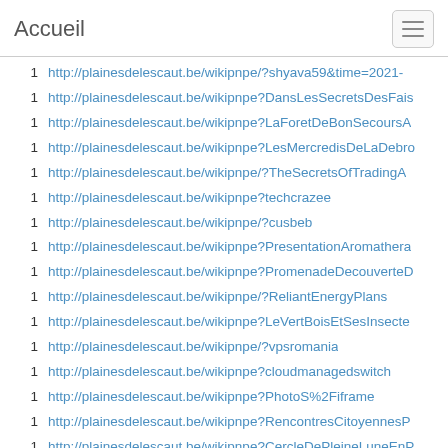Accueil
1  http://plainesdelescaut.be/wikipnpe/?shyava59&time=2021-
1  http://plainesdelescaut.be/wikipnpe?DansLesSecretsDesFais
1  http://plainesdelescaut.be/wikipnpe?LaForetDeBonSecoursA
1  http://plainesdelescaut.be/wikipnpe?LesMercredisDeLaDebro
1  http://plainesdelescaut.be/wikipnpe/?TheSecretsOfTradingA
1  http://plainesdelescaut.be/wikipnpe?techcrazee
1  http://plainesdelescaut.be/wikipnpe/?cusbeb
1  http://plainesdelescaut.be/wikipnpe?PresentationAromathera
1  http://plainesdelescaut.be/wikipnpe?PromenadeDecouverteD
1  http://plainesdelescaut.be/wikipnpe/?ReliantEnergyPlans
1  http://plainesdelescaut.be/wikipnpe?LeVertBoisEtSesInsecte
1  http://plainesdelescaut.be/wikipnpe/?vpsromania
1  http://plainesdelescaut.be/wikipnpe?cloudmanagedswitch
1  http://plainesdelescaut.be/wikipnpe?PhotoS%2Fiframe
1  http://plainesdelescaut.be/wikipnpe?RencontresCitoyennesP
1  http://plainesdelescaut.be/wikipnpe?CercleDePleineLuneEnP
1  http://plainesdelescaut.be/wikipnpe?RencontresCitoyennesP
1  http://plainesdelescaut.be/wikipnpe/?BuyBarrettFirearmsOnl
1  http://plainesdelescaut.be/wikipnpe?abbslaw%2Freferrers&
1  http://plainesdelescaut.be/wikipnpe?GillesDeLanghe/listpage